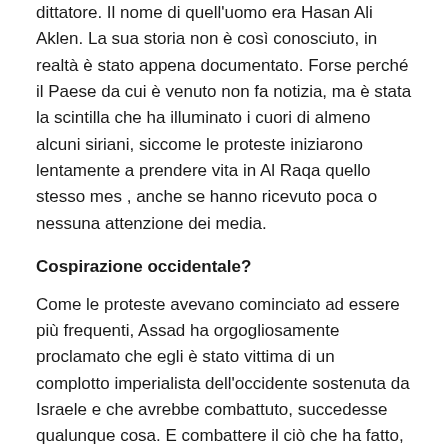dittatore. Il nome di quell'uomo era Hasan Ali Aklen. La sua storia non è così conosciuto, in realtà è stato appena documentato. Forse perché il Paese da cui è venuto non fa notizia, ma è stata la scintilla che ha illuminato i cuori di almeno alcuni siriani, siccome le proteste iniziarono lentamente a prendere vita in Al Raqa quello stesso mes , anche se hanno ricevuto poca o nessuna attenzione dei media.
Cospirazione occidentale?
Come le proteste avevano cominciato ad essere più frequenti, Assad ha orgogliosamente proclamato che egli è stato vittima di un complotto imperialista dell'occidente sostenuta da Israele e che avrebbe combattuto, succedesse qualunque cosa. E combattere il ciò che ha fatto, ma a differenza dei leader di Tunisia o d'Egitto, Assad ha...